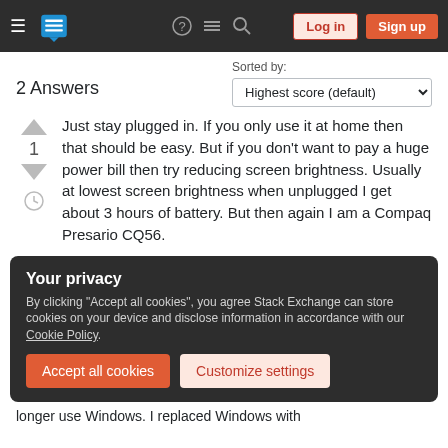Stack Exchange navigation header with Log in and Sign up buttons
2 Answers
Sorted by: Highest score (default)
Just stay plugged in. If you only use it at home then that should be easy. But if you don't want to pay a huge power bill then try reducing screen brightness. Usually at lowest screen brightness when unplugged I get about 3 hours of battery. But then again I am a Compaq Presario CQ56.
Your privacy
By clicking "Accept all cookies", you agree Stack Exchange can store cookies on your device and disclose information in accordance with our Cookie Policy.
longer use Windows. I replaced Windows with